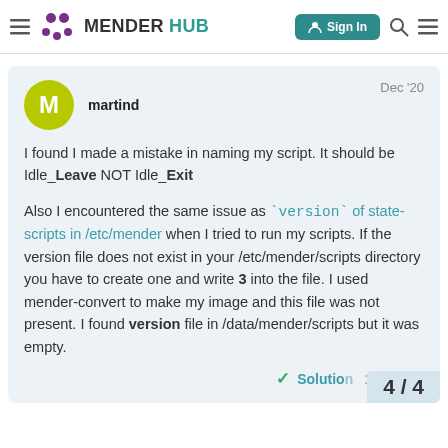MENDER HUB — Sign In
martind  Dec '20
I found I made a mistake in naming my script. It should be Idle_Leave NOT Idle_Exit
Also I encountered the same issue as `version` of state-scripts in /etc/mender when I tried to run my scripts. If the version file does not exist in your /etc/mender/scripts directory you have to create one and write 3 into the file. I used mender-convert to make my image and this file was not present. I found version file in /data/mender/scripts but it was empty.
✓ Solution  4 / 4